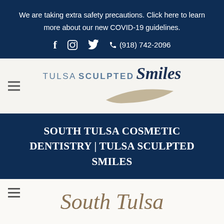We are taking extra safety precautions. Click here to learn more about our new COVID-19 guidelines.
f  Instagram  Twitter  (918) 742-2096
[Figure (logo): Tulsa Sculpted Smiles logo with text and swoosh graphic]
SOUTH TULSA COSMETIC DENTISTRY | TULSA SCULPTED SMILES
South Tulsa